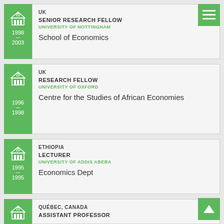UK | SENIOR RESEARCH FELLOW | UNIVERSITY OF NOTTINGHAM | School of Economics | 1998–2003
UK | RESEARCH FELLOW | UNIVERSITY OF OXFORD | Centre for the Studies of African Economies | 1996–1998
ETHIOPIA | LECTURER | UNIVERSITY OF ADDIS ABEBA | Economics Dept | 1995–1995
QUÉBEC, CANADA | ASSISTANT PROFESSOR | 19??–19??